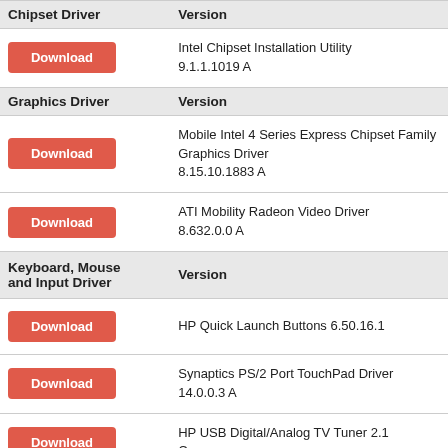| Chipset Driver | Version |
| --- | --- |
| Download | Intel Chipset Installation Utility 9.1.1.1019 A |
| Graphics Driver | Version |
| Download | Mobile Intel 4 Series Express Chipset Family Graphics Driver 8.15.10.1883 A |
| Download | ATI Mobility Radeon Video Driver 8.632.0.0 A |
| Keyboard, Mouse and Input Driver | Version |
| Download | HP Quick Launch Buttons 6.50.16.1 |
| Download | Synaptics PS/2 Port TouchPad Driver 14.0.0.3 A |
| Download | HP USB Digital/Analog TV Tuner 2.1 C |